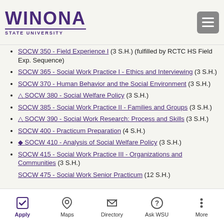Winona State University
SOCW 350 - Field Experience I (3 S.H.) (fulfilled by RCTC HS Field Exp. Sequence)
SOCW 365 - Social Work Practice I - Ethics and Interviewing (3 S.H.)
SOCW 370 - Human Behavior and the Social Environment (3 S.H.)
△ SOCW 380 - Social Welfare Policy (3 S.H.)
SOCW 385 - Social Work Practice II - Families and Groups (3 S.H.)
△ SOCW 390 - Social Work Research: Process and Skills (3 S.H.)
SOCW 400 - Practicum Preparation (4 S.H.)
◆ SOCW 410 - Analysis of Social Welfare Policy (3 S.H.)
SOCW 415 - Social Work Practice III - Organizations and Communities (3 S.H.)
SOCW 475 - Social Work Senior Practicum (12 S.H.)
Apply | Maps | Directory | Ask WSU | More